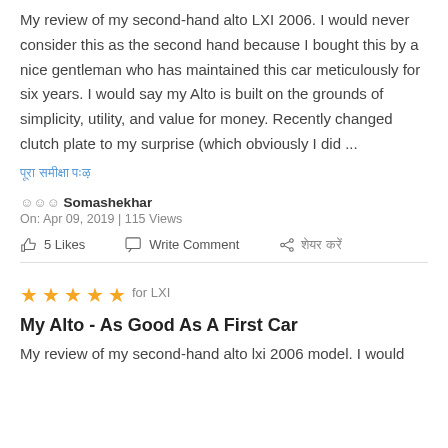My review of my second-hand alto LXI 2006. I would never consider this as the second hand because I bought this by a nice gentleman who has maintained this car meticulously for six years. I would say my Alto is built on the grounds of simplicity, utility, and value for money. Recently changed clutch plate to my surprise (which obviously I did ...
पूरा समीक्षा पढ़ें
☺☺☺ Somashekhar
On: Apr 09, 2019 | 115 Views
5 Likes   Write Comment   शेयर करें
[Figure (other): Five orange star rating icons]
for LXI
My Alto - As Good As A First Car
My review of my second-hand alto lxi 2006 model. I would